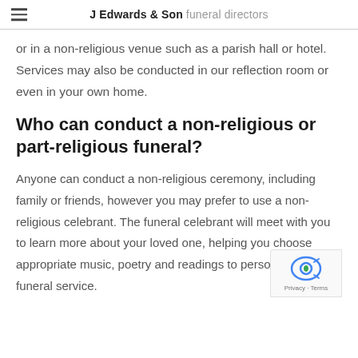J Edwards & Son funeral directors
or in a non-religious venue such as a parish hall or hotel. Services may also be conducted in our reflection room or even in your own home.
Who can conduct a non-religious or part-religious funeral?
Anyone can conduct a non-religious ceremony, including family or friends, however you may prefer to use a non-religious celebrant. The funeral celebrant will meet with you to learn more about your loved one, helping you choose appropriate music, poetry and readings to personalise the funeral service.